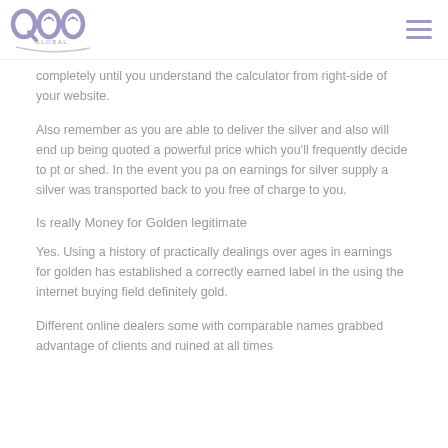QOO Global
completely until you understand the calculator from right-side of your website.
Also remember as you are able to deliver the silver and also will end up being quoted a powerful price which you'll frequently decide to pt or shed. In the event you pa on earnings for silver supply a silver was transported back to you free of charge to you.
Is really Money for Golden legitimate
Yes. Using a history of practically dealings over ages in earnings for golden has established a correctly earned label in the using the internet buying field definitely gold.
Different online dealers some with comparable names grabbed advantage of clients and ruined at all times